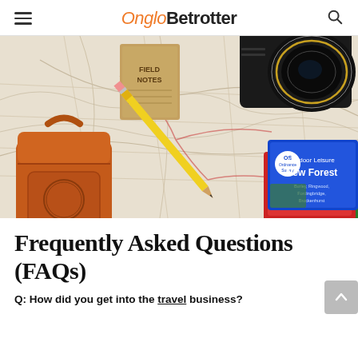OngloBetrotter
[Figure (photo): Flat lay photo of travel items on a map: a Fjallraven Kanken orange backpack, Field Notes notebook, yellow pencil, black camera lens, and Ordnance Survey New Forest map booklets.]
Frequently Asked Questions (FAQs)
Q: How did you get into the travel business?